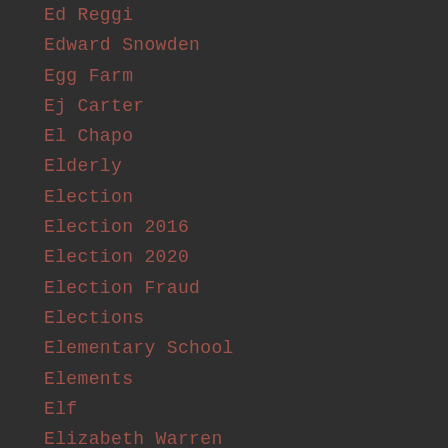Ed Reggi
Edward Snowden
Egg Farm
Ej Carter
El Chapo
Elderly
Election
Election 2016
Election 2020
Election Fraud
Elections
Elementary School
Elements
Elf
Elizabeth Warren
Elon Musk
El Paso
Em
Email
Emails
Emanuelle Macron